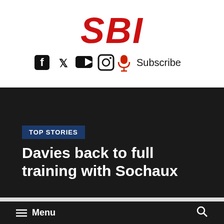SBI
[Figure (logo): Social media icons row: Facebook, Twitter, YouTube, Instagram, microphone (red), followed by Subscribe text]
TOP STORIES
Davies back to full training with Sochaux
≡ Menu  🔍